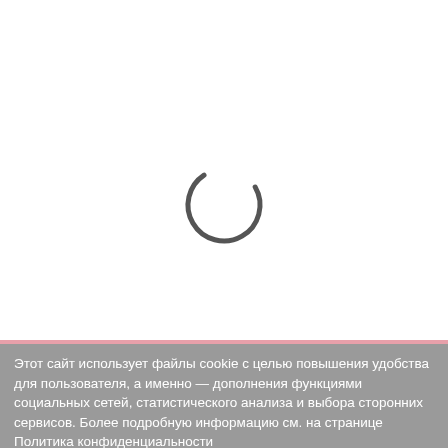[Figure (other): A loading spinner icon — a dark gray arc (approximately 300 degrees) forming an incomplete circle, centered in the white area of the page.]
Этот сайт использует файлы cookie с целью повышения удобства для пользователя, а именно — дополнения функциями социальных сетей, статистического анализа и выбора сторонних сервисов. Более подробную информацию см. на странице Политика конфиденциальности